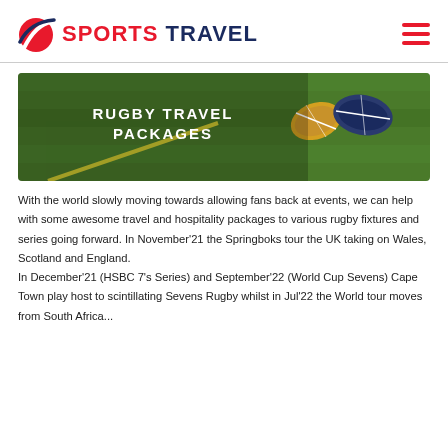SPORTS TRAVEL
[Figure (photo): Rugby balls on a green grass field with yellow lines, banner reading RUGBY TRAVEL PACKAGES]
With the world slowly moving towards allowing fans back at events, we can help with some awesome travel and hospitality packages to various rugby fixtures and series going forward. In November'21 the Springboks tour the UK taking on Wales, Scotland and England.
In December'21 (HSBC 7's Series) and September'22 (World Cup Sevens) Cape Town play host to scintillating Sevens Rugby whilst in Jul'22 the World tour moves from South Africa...